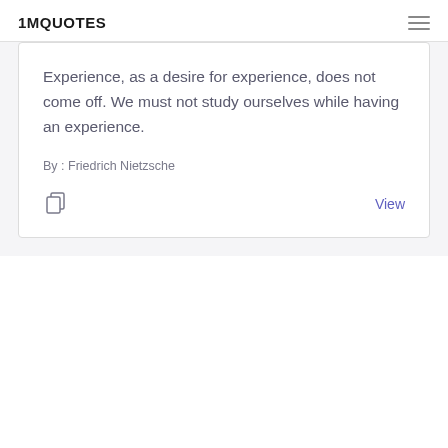1MQUOTES
Experience, as a desire for experience, does not come off. We must not study ourselves while having an experience.
By : Friedrich Nietzsche
View